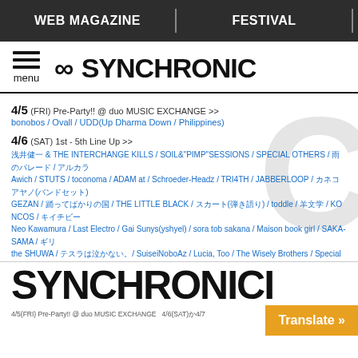WEB MAGAZINE | FESTIVAL
∞ SYNCHRONIC
menu
4/5 (FRI) Pre-Party!! @ duo MUSIC EXCHANGE >>
bonobos / Ovall / UDD(Up Dharma Down / Philippines)
4/6 (SAT) 1st - 5th Line Up >>
浅井健一 & THE INTERCHANGE KILLS / SOIL&"PIMP"SESSIONS / SPECIAL OTHERS / 雨のパレード / アルカラ / Awich / STUTS / toconoma / ADAM at / Schroeder-Headz / TRI4TH / JABBERLOOP / カネコアヤノ(バンドセット) / GEZAN / 踊ってばかりの国 / THE LITTLE BLACK / スカート(弾き語り) / toddle / 羊文学 / KONCOS / キイチビール / Neo Kawamura / Last Electro / Gai Sunys(yshyel) / sora tob sakana / Maison book girl / SAKA-SAMA / ギリシャラブ / the SHUWA / テスラは泣かない。/ SuiseiNoboAz / Lucia, Too / The Wisely Brothers / Special Favorite Music / Kick a Show / BLACK BASS / BROTHER SUN SISTER MOON / sankara / babarca / 座布団5000/ / DJ Newtown... 白鳥雪之丞(Toes of Swan) / 出口博之(exモノブライト) / ハシダカズマ(前庭の都内楽) / 西村ひよこちゃんemo / アイアムアイ /
SYNCHRONICI
4/5(FRI) Pre-Party!! @ duo MUSIC EXCHANGE  4/6(SAT)か4/7...  ...ext duo M...